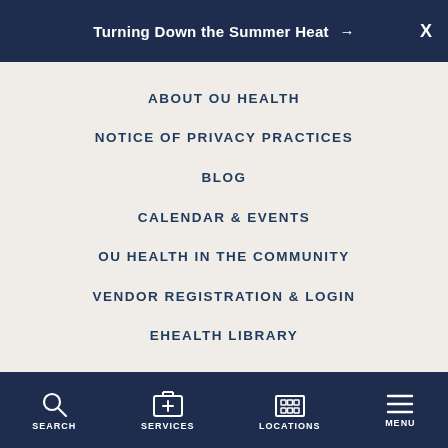Turning Down the Summer Heat →
ABOUT OU HEALTH
NOTICE OF PRIVACY PRACTICES
BLOG
CALENDAR & EVENTS
OU HEALTH IN THE COMMUNITY
VENDOR REGISTRATION & LOGIN
EHEALTH LIBRARY
SEARCH  SERVICES  LOCATIONS  MENU